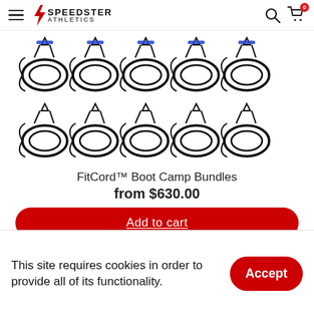[Figure (logo): Speedster Athletics logo with lightning bolt icon, hamburger menu icon on the left, search and cart icons on the right with badge showing 0]
[Figure (photo): Grid of resistance band / FitCord products arranged in two rows of 5, top row with 25lb bands (blue accent), bottom row with 40lb bands (black)]
FitCord™ Boot Camp Bundles
from $630.00
Add to cart
This site requires cookies in order to provide all of its functionality.
Accept